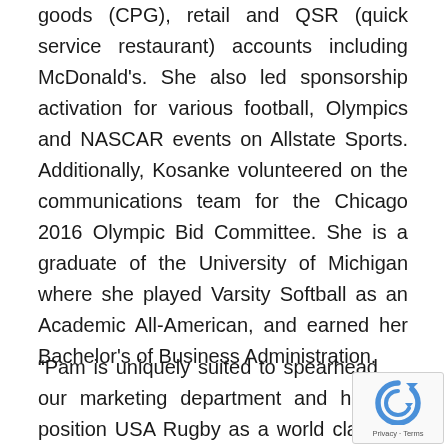goods (CPG), retail and QSR (quick service restaurant) accounts including McDonald's. She also led sponsorship activation for various football, Olympics and NASCAR events on Allstate Sports. Additionally, Kosanke volunteered on the communications team for the Chicago 2016 Olympic Bid Committee. She is a graduate of the University of Michigan where she played Varsity Softball as an Academic All-American, and earned her Bachelor's of Business Administration.
“Pam is uniquely suited to spearhead our marketing department and help position USA Rugby as a world class organization